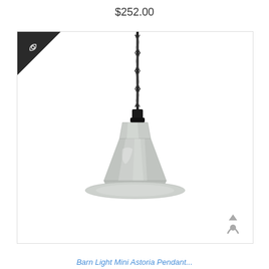$252.00
[Figure (photo): A silver/galvanized metal pendant light hanging from a twisted black cord against a white background, with a bell-shaped shade. Contains an eye/quick-view icon badge in the upper-left corner and a share icon in the lower-right corner.]
Barn Light Mini Astoria Pendant...